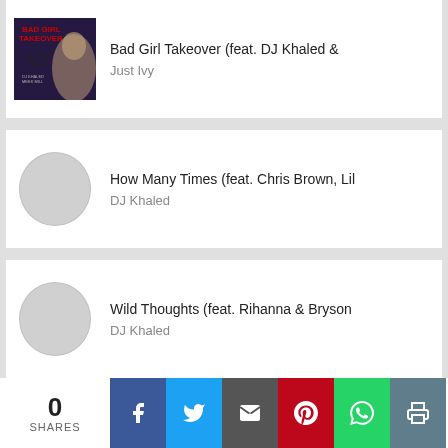Bad Girl Takeover (feat. DJ Khaled & Just Ivy
How Many Times (feat. Chris Brown, Lil — DJ Khaled
Wild Thoughts (feat. Rihanna & Bryson — DJ Khaled
GREECE (feat. Drake) - Single — DJ Khaled
0 SHARES